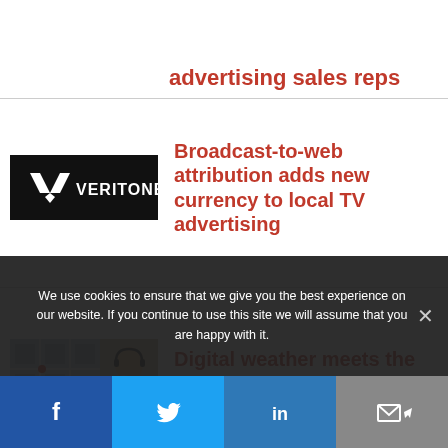advertising sales reps
[Figure (logo): Veritone logo on black background]
Broadcast-to-web attribution adds new currency to local TV advertising
[Figure (photo): Aerial map view and person with headset thumbnail]
Digital weather meets the future: speed, flexibility, simplicity
We use cookies to ensure that we give you the best experience on our website. If you continue to use this site we will assume that you are happy with it.